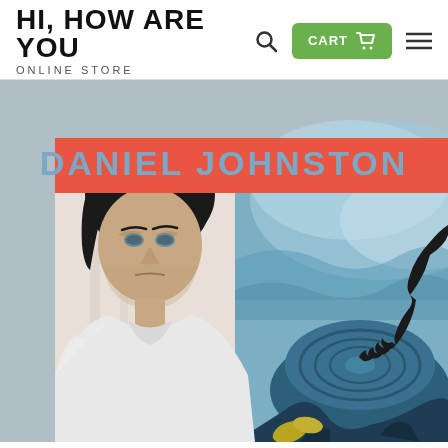HI, HOW ARE YOU ONLINE STORE
[Figure (photo): Photo of Daniel Johnston standing beside a colorful painting. The image has a red/orange banner at the top reading 'DANIEL JOHNSTON' in blue letters. The man has dark hair and wears a white long-sleeve shirt. Behind him is a painting with blues and blacks depicting a tree stump and a dark hand/arm shape against a stormy sky.]